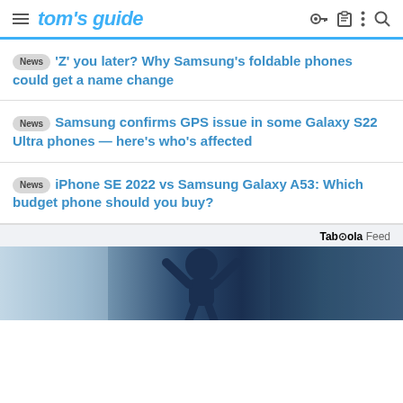tom's guide
News 'Z' you later? Why Samsung's foldable phones could get a name change
News Samsung confirms GPS issue in some Galaxy S22 Ultra phones — here's who's affected
News iPhone SE 2022 vs Samsung Galaxy A53: Which budget phone should you buy?
[Figure (photo): Taboola Feed sponsored content image showing a dark blue outdoor/sky scene with a person silhouette]
Taboola Feed